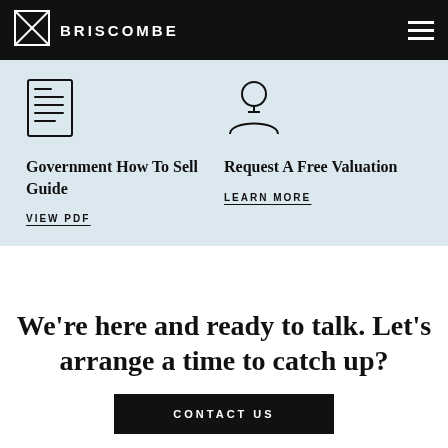BRISCOMBE
[Figure (illustration): Document/page icon outline]
Government How To Sell Guide
VIEW PDF
[Figure (illustration): Person/user icon outline]
Request A Free Valuation
LEARN MORE
We're here and ready to talk. Let's arrange a time to catch up?
CONTACT US